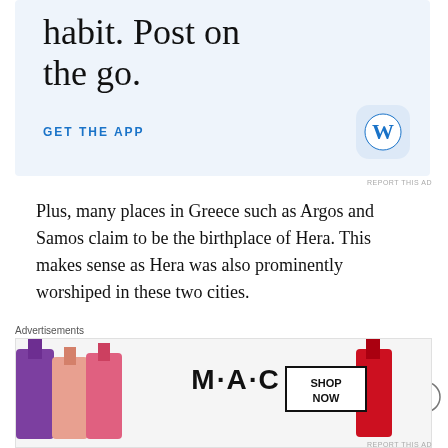[Figure (screenshot): WordPress app advertisement banner with light blue background, large text 'habit. Post on the go.', blue 'GET THE APP' call to action, and WordPress 'W' logo icon.]
REPORT THIS AD
Plus, many places in Greece such as Argos and Samos claim to be the birthplace of Hera. This makes sense as Hera was also prominently worshiped in these two cities.
Goddess Of Marriage
As the goddess of marriage, Hera is the protector of
Advertisements
[Figure (screenshot): MAC cosmetics advertisement showing lipsticks in purple, peach, and pink colors with M·A·C logo and 'SHOP NOW' button.]
REPORT THIS AD